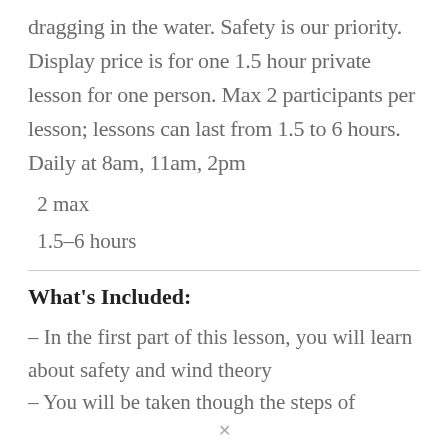dragging in the water. Safety is our priority. Display price is for one 1.5 hour private lesson for one person. Max 2 participants per lesson; lessons can last from 1.5 to 6 hours. Daily at 8am, 11am, 2pm
2 max
1.5–6 hours
What's Included:
– In the first part of this lesson, you will learn about safety and wind theory
– You will be taken though the steps of